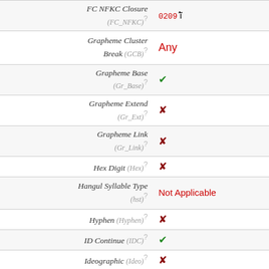| Property | Value |
| --- | --- |
| FC NFKC Closure (FC_NFKC) | 0209 ï |
| Grapheme Cluster Break (GCB) | Any |
| Grapheme Base (Gr_Base) | ✔ |
| Grapheme Extend (Gr_Ext) | ✘ |
| Grapheme Link (Gr_Link) | ✘ |
| Hex Digit (Hex) | ✘ |
| Hangul Syllable Type (hst) | Not Applicable |
| Hyphen (Hyphen) | ✘ |
| ID Continue (IDC) | ✔ |
| Ideographic (Ideo) | ✘ |
| ID Start (IDS) | ✔ |